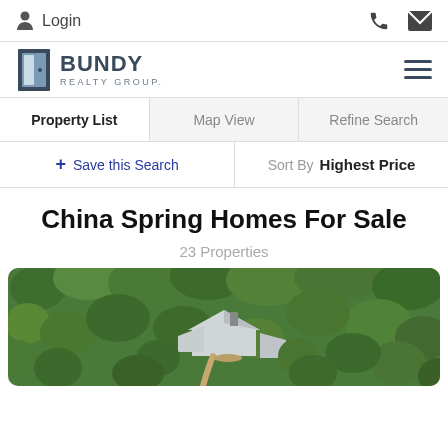Login
[Figure (logo): Bundy Realty Group logo with door icon]
Property List | Map View | Refine Search
+ Save this Search   Sort By  Highest Price
China Spring Homes For Sale
23 Properties
[Figure (photo): Aerial view of a house surrounded by green trees]